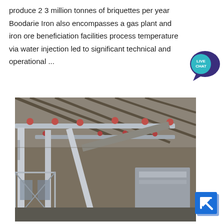produce 2 3 million tonnes of briquettes per year Boodarie Iron also encompasses a gas plant and iron ore beneficiation facilities process temperature via water injection led to significant technical and operational ...
[Figure (photo): Interior industrial photograph of a large facility showing steel structural framework, conveyor belts, pipes, and industrial equipment including rollers and metal structures under a corrugated roof.]